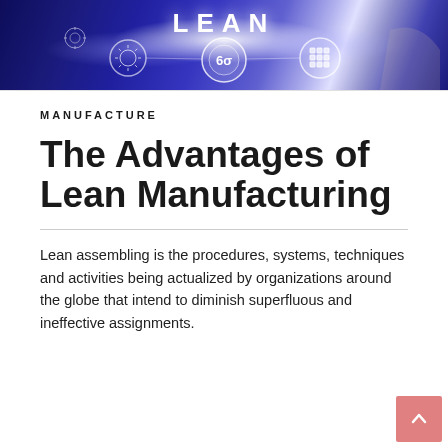[Figure (illustration): Hero banner image showing Lean Six Sigma manufacturing digital interface with glowing circles, gear icons, 6σ symbol, and snowflake/matrix icon on a dark blue tech background. The word LEAN is prominently displayed at the top in large bold white letters.]
MANUFACTURE
The Advantages of Lean Manufacturing
Lean assembling is the procedures, systems, techniques and activities being actualized by organizations around the globe that intend to diminish superfluous and ineffective assignments.